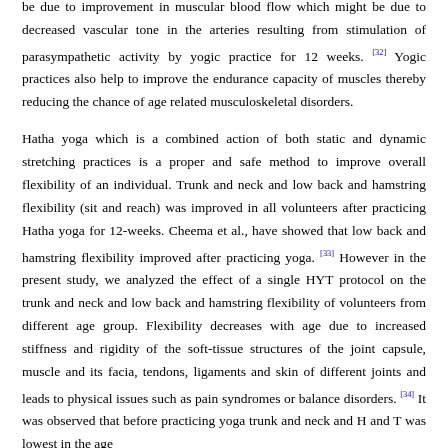be due to improvement in muscular blood flow which might be due to decreased vascular tone in the arteries resulting from stimulation of parasympathetic activity by yogic practice for 12 weeks. [32] Yogic practices also help to improve the endurance capacity of muscles thereby reducing the chance of age related musculoskeletal disorders.
Hatha yoga which is a combined action of both static and dynamic stretching practices is a proper and safe method to improve overall flexibility of an individual. Trunk and neck and low back and hamstring flexibility (sit and reach) was improved in all volunteers after practicing Hatha yoga for 12-weeks. Cheema et al., have showed that low back and hamstring flexibility improved after practicing yoga. [33] However in the present study, we analyzed the effect of a single HYT protocol on the trunk and neck and low back and hamstring flexibility of volunteers from different age group. Flexibility decreases with age due to increased stiffness and rigidity of the soft-tissue structures of the joint capsule, muscle and its facia, tendons, ligaments and skin of different joints and leads to physical issues such as pain syndromes or balance disorders. [34] It was observed that before practicing yoga trunk and neck and H and T was lowest in the age